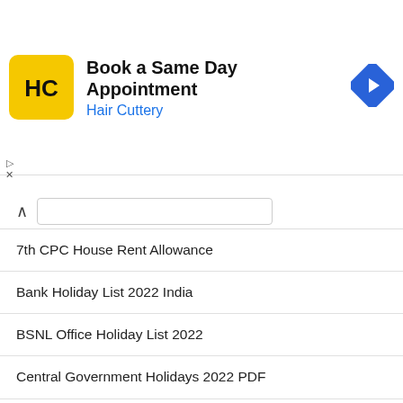[Figure (other): Hair Cuttery advertisement banner with logo, 'Book a Same Day Appointment' text, and navigation arrow icon]
7th CPC House Rent Allowance
Bank Holiday List 2022 India
BSNL Office Holiday List 2022
Central Government Holidays 2022 PDF
CGHS Holidays 2022
ESIC Holiday List 2022
Indian Customs Office Holiday List 2022
Tamil Nadu Government Holidays 2022 (G.O) Order